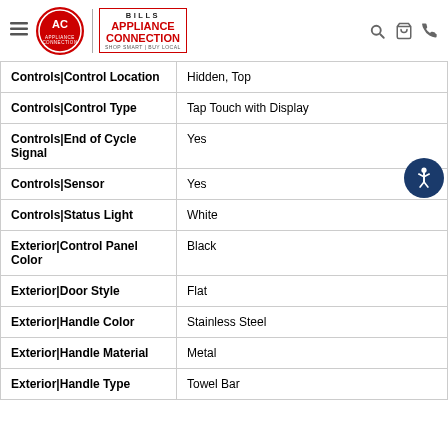Bills Appliance Connection
| Feature | Value |
| --- | --- |
| Controls|Control Location | Hidden, Top |
| Controls|Control Type | Tap Touch with Display |
| Controls|End of Cycle Signal | Yes |
| Controls|Sensor | Yes |
| Controls|Status Light | White |
| Exterior|Control Panel Color | Black |
| Exterior|Door Style | Flat |
| Exterior|Handle Color | Stainless Steel |
| Exterior|Handle Material | Metal |
| Exterior|Handle Type | Towel Bar |